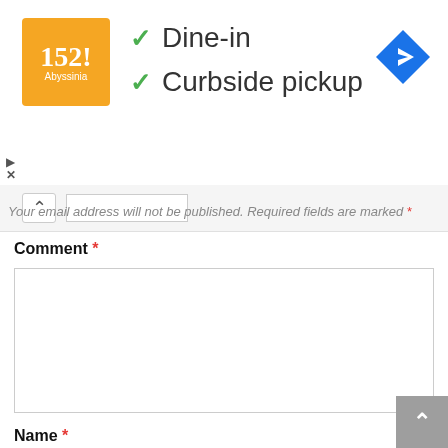[Figure (logo): Orange square logo with stylized text]
✓ Dine-in
✓ Curbside pickup
[Figure (other): Blue diamond navigation/directions icon]
Your email address will not be published. Required fields are marked *
Comment *
Name *